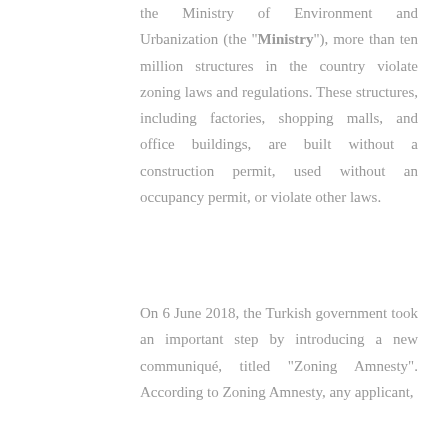the Ministry of Environment and Urbanization (the “Ministry”), more than ten million structures in the country violate zoning laws and regulations. These structures, including factories, shopping malls, and office buildings, are built without a construction permit, used without an occupancy permit, or violate other laws.
On 6 June 2018, the Turkish government took an important step by introducing a new communiqué, titled “Zoning Amnesty”. According to Zoning Amnesty, any applicant,